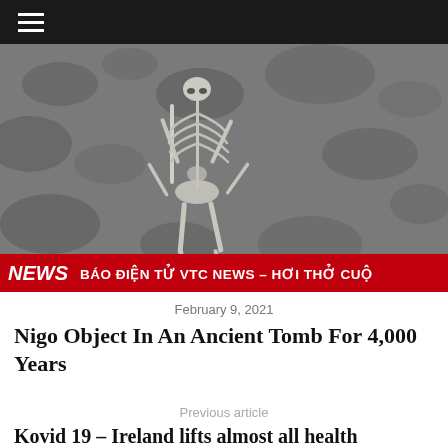≡ (hamburger menu)
[Figure (photo): Aerial or close-up view of an ancient human skeleton buried in stone/earth, with bones visible. A red banner at the bottom reads: NEWS | BÁO ĐIỆN TỬ VTC NEWS – HƠI THỞ CUỘ]
February 9, 2021
Nigo Object In An Ancient Tomb For 4,000 Years
Previous article
Kovid 19 – Ireland lifts almost all health restrictions!